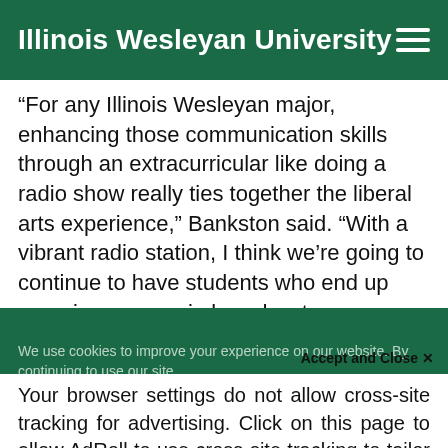Illinois Wesleyan University
“For any Illinois Wesleyan major, enhancing those communication skills through an extracurricular like doing a radio show really ties together the liberal arts experience,” Bankston said. “With a vibrant radio station, I think we’re going to continue to have students who end up pursuing careers in broadcast
We use cookies to improve your experience on our website. By continuing to use our site...
Accept and Close ×
Your browser settings do not allow cross-site tracking for advertising. Click on this page to allow AdRoll to use cross-site tracking to tailor ads to you. Learn more or opt out of this AdRoll tracking by clicking here. This message only appears once.
around the show gets larger,” said Spiers.